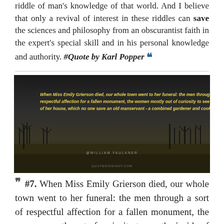riddle of man's knowledge of that world. And I believe that only a revival of interest in these riddles can save the sciences and philosophy from an obscurantist faith in the expert's special skill and in his personal knowledge and authority. #Quote by Karl Popper "
[Figure (photo): Dark atmospheric landscape photo with bare trees silhouetted against a stormy grey sky, with a field in the foreground. Yellow italic text overlaid reads a William Faulkner quote about Miss Emily Grierson. Attribution reads @WILLIAM FAULKNER and QUOTESINSIGHT.COM at the bottom.]
" #7. When Miss Emily Grierson died, our whole town went to her funeral: the men through a sort of respectful affection for a fallen monument, the women mostly out of curiosity to see the inside of her house,